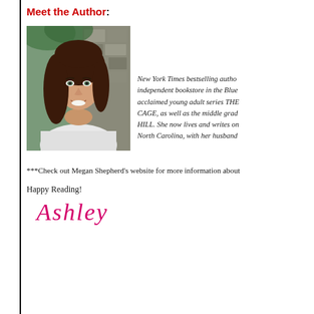Meet the Author:
[Figure (photo): Professional headshot of a woman with long brown hair, smiling, leaning against a stone wall outdoors.]
New York Times bestselling autho... independent bookstore in the Blue... acclaimed young adult series THE... CAGE, as well as the middle grad... HILL. She now lives and writes on... North Carolina, with her husband...
***Check out Megan Shepherd's website for more information about
Happy Reading!
Ashley